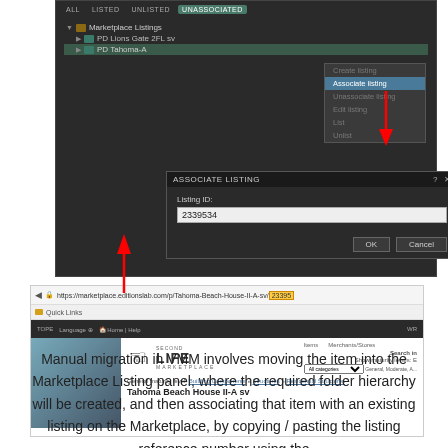[Figure (screenshot): VMM Marketplace Listings panel showing UNASSOCIATED tab selected with folder tree (Marketplace Listings > PD Lions Gate 2FL sv, PD Tahoma-A), a context menu with 'Associate listing' highlighted, and an Associate Listing dialog with Listing ID field showing '2339534', plus OK and Cancel buttons. Below is a browser window showing the Second Life Marketplace page for 'Tahoma Beach House II-A sv' with the listing number highlighted in the URL bar, connected by a red upward arrow.]
Manual migration in VMM involves moving the item into the Marketplace Listing panel, where the required folder hierarchy will be created, and then associating that item with an existing listing on the Marketplace, by copying / pasting the listing reference number using the